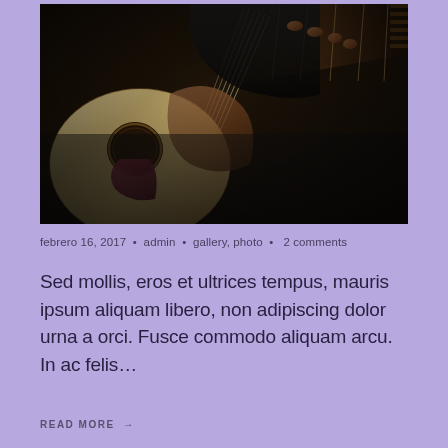[Figure (photo): Close-up photograph of a person's hands playing an acoustic guitar, showing the fretboard, strings, and body of the instrument against a dark background.]
febrero 16, 2017 • admin • gallery, photo • 2 comments
Sed mollis, eros et ultrices tempus, mauris ipsum aliquam libero, non adipiscing dolor urna a orci. Fusce commodo aliquam arcu. In ac felis…
READ MORE →